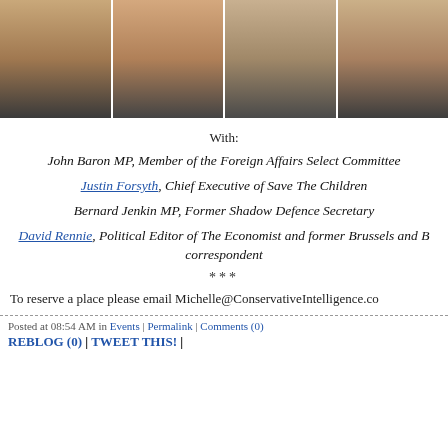[Figure (photo): Four headshot photos of speakers arranged in a horizontal strip]
With:
John Baron MP, Member of the Foreign Affairs Select Committee
Justin Forsyth, Chief Executive of Save The Children
Bernard Jenkin MP, Former Shadow Defence Secretary
David Rennie, Political Editor of The Economist and former Brussels and B... correspondent
***
To reserve a place please email Michelle@ConservativeIntelligence.co...
Posted at 08:54 AM in Events | Permalink | Comments (0) REBLOG (0) | TWEET THIS! |